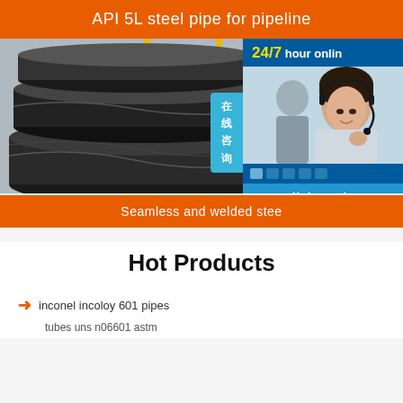API 5L steel pipe for pipeline
[Figure (photo): Photo of steel pipes stacked outdoors with a chat widget overlay showing '24/7 hour online' service and a customer service representative]
Seamless and welded stee
Hot Products
inconel incoloy 601 pipes
tubes uns n06601 astm